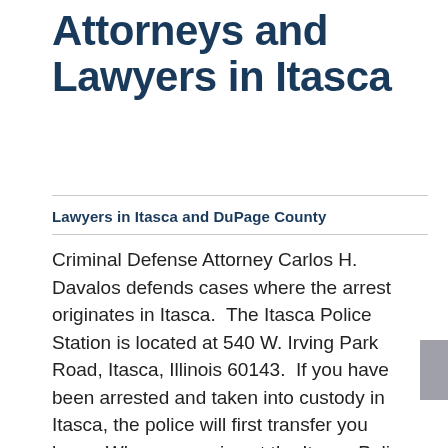Attorneys and Lawyers in Itasca
Lawyers in Itasca and DuPage County
Criminal Defense Attorney Carlos H. Davalos defends cases where the arrest originates in Itasca.  The Itasca Police Station is located at 540 W. Irving Park Road, Itasca, Illinois 60143.  If you have been arrested and taken into custody in Itasca, the police will first transfer you here.  When you arrive at the Itasca Police Station, you will be separated from your